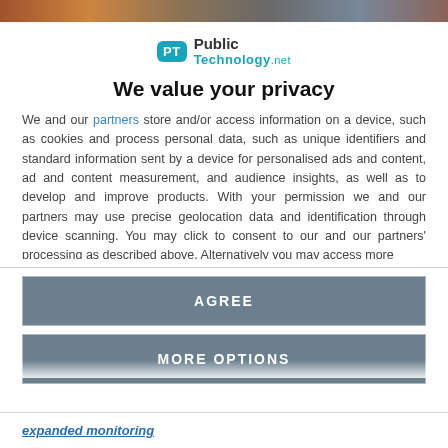[Figure (photo): Partial photo strip visible at top of page showing blurred faces/people]
[Figure (logo): PublicTechnology.net logo with teal PT speech bubble icon and bold text]
We value your privacy
We and our partners store and/or access information on a device, such as cookies and process personal data, such as unique identifiers and standard information sent by a device for personalised ads and content, ad and content measurement, and audience insights, as well as to develop and improve products. With your permission we and our partners may use precise geolocation data and identification through device scanning. You may click to consent to our and our partners' processing as described above. Alternatively you may access more
AGREE
MORE OPTIONS
expanded monitoring